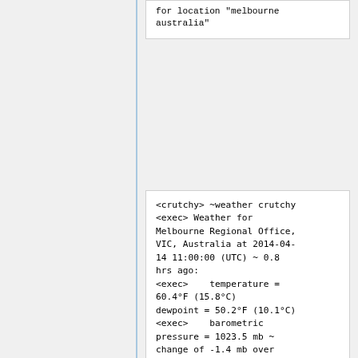for location "melbourne australia"
<crutchy> ~weather crutchy <exec> Weather for Melbourne Regional Office, VIC, Australia at 2014-04-14 11:00:00 (UTC) ~ 0.8 hrs ago: <exec>    temperature = 60.4°F (15.8°C) dewpoint = 50.2°F (10.1°C) <exec>    barometric pressure = 1023.5 mb ~ change of -1.4 mb over past 3 hrs   relative humdity = 68% <exec>   wind speed = (no data)   wind direction = 0°